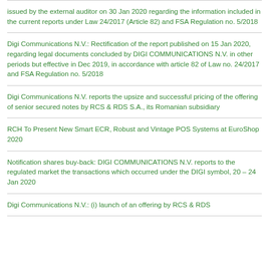issued by the external auditor on 30 Jan 2020 regarding the information included in the current reports under Law 24/2017 (Article 82) and FSA Regulation no. 5/2018
Digi Communications N.V.: Rectification of the report published on 15 Jan 2020, regarding legal documents concluded by DIGI COMMUNICATIONS N.V. in other periods but effective in Dec 2019, in accordance with article 82 of Law no. 24/2017 and FSA Regulation no. 5/2018
Digi Communications N.V. reports the upsize and successful pricing of the offering of senior secured notes by RCS & RDS S.A., its Romanian subsidiary
RCH To Present New Smart ECR, Robust and Vintage POS Systems at EuroShop 2020
Notification shares buy-back: DIGI COMMUNICATIONS N.V. reports to the regulated market the transactions which occurred under the DIGI symbol, 20 – 24 Jan 2020
Digi Communications N.V.: (i) launch of an offering by RCS & RDS